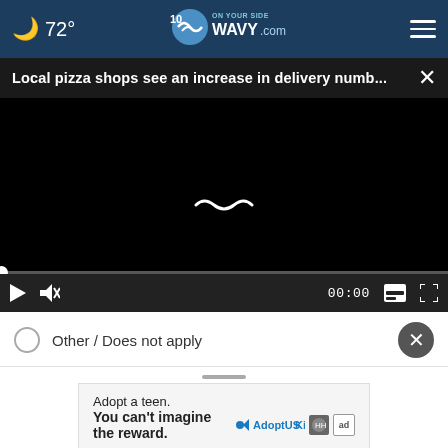72° WAVY.com — On Your Side
Local pizza shops see an increase in delivery numb...
[Figure (screenshot): Black video player with loading spinner icon, progress bar at bottom, and playback controls showing play button, mute button, 00:00 timestamp, captions and fullscreen buttons.]
Other / Does not apply
[Figure (other): Dark circular close/X button]
Adopt a teen. You can't imagine the reward. — AdoptUSKids ad
* By submitting your survey answers, if you would like to continue with this survey, please